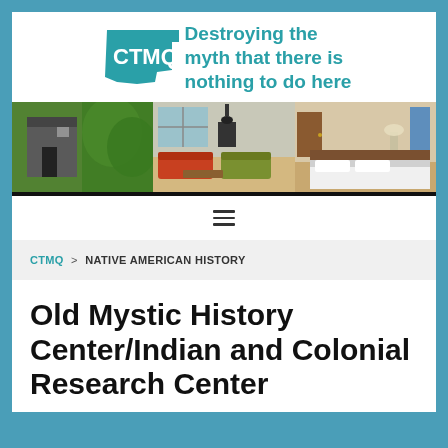[Figure (logo): CTMQ logo with teal Connecticut state shape and text 'CTMQ Destroying the myth that there is nothing to do here']
[Figure (photo): Three side-by-side interior/exterior photos: a rustic building exterior with greenery, a modern living room with orange couch and wood stove, and a bedroom with white bedding]
[Figure (infographic): Hamburger menu icon with three horizontal lines]
CTMQ > NATIVE AMERICAN HISTORY
Old Mystic History Center/Indian and Colonial Research Center